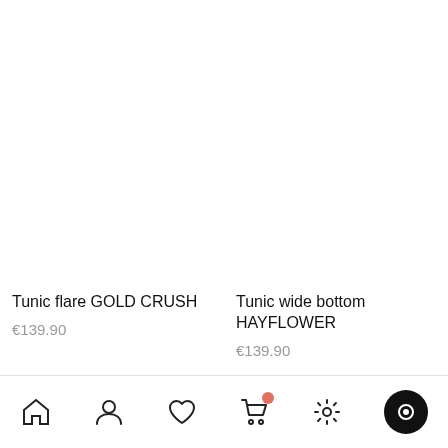[Figure (screenshot): Filter button with sliders icon]
Tunic flare GOLD CRUSH
€139.90
Tunic wide bottom HAYFLOWER
€139.90
[Figure (other): Bottom navigation bar with home, user, heart, cart, settings, and chat icons]